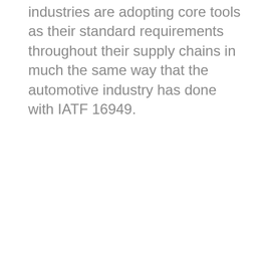industries are adopting core tools as their standard requirements throughout their supply chains in much the same way that the automotive industry has done with IATF 16949.